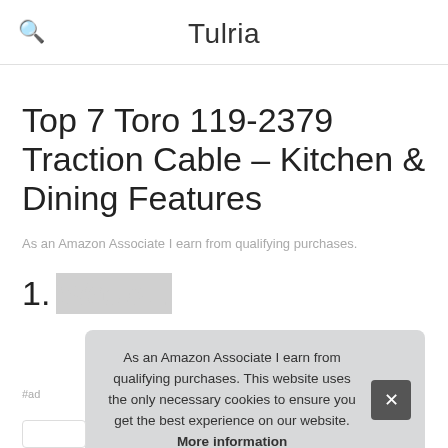Tulria
Top 7 Toro 119-2379 Traction Cable – Kitchen & Dining Features
As an Amazon Associate I earn from qualifying purchases.
1. Wad...
As an Amazon Associate I earn from qualifying purchases. This website uses the only necessary cookies to ensure you get the best experience on our website. More information